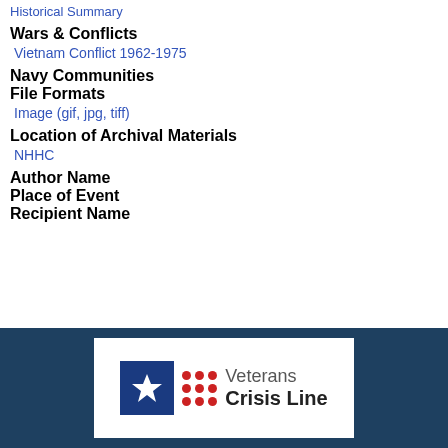Historical Summary
Wars & Conflicts
Vietnam Conflict 1962-1975
Navy Communities
File Formats
Image (gif, jpg, tiff)
Location of Archival Materials
NHHC
Author Name
Place of Event
Recipient Name
[Figure (logo): Veterans Crisis Line logo with dark blue background, white box containing blue square with white star, red dots grid, and 'Veterans Crisis Line' text]